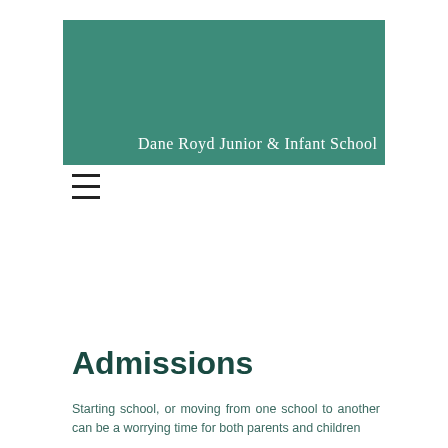Dane Royd Junior & Infant School
[Figure (other): Hamburger menu icon with three horizontal lines]
Admissions
Starting school, or moving from one school to another can be a worrying time for both parents and children...